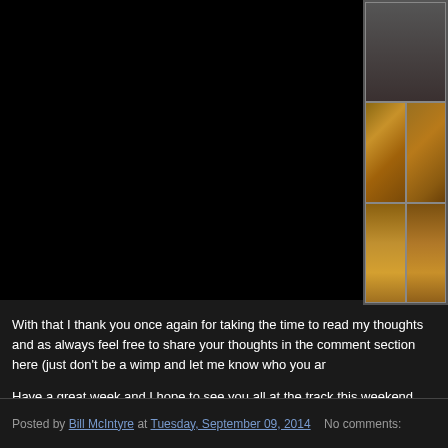[Figure (photo): Partial photo panel on right side showing grid of images with warm brown/gold tones against dark background]
With that I thank you once again for taking the time to read my thoughts and as always feel free to share your thoughts in the comment section here (just don't be a wimp and let me know who you ar
Have a great week and I hope to see you all at the track this weekend.
Posted by Bill McIntyre at Tuesday, September 09, 2014   No comments: